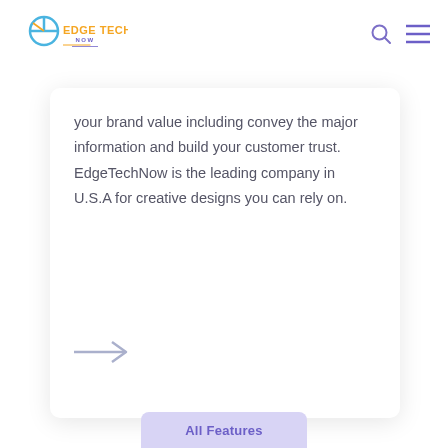Edge Tech Now - logo with search and menu icons
your brand value including convey the major information and build your customer trust. EdgeTechNow is the leading company in U.S.A for creative designs you can rely on.
[Figure (illustration): Right arrow icon in gray/light purple color]
All Features